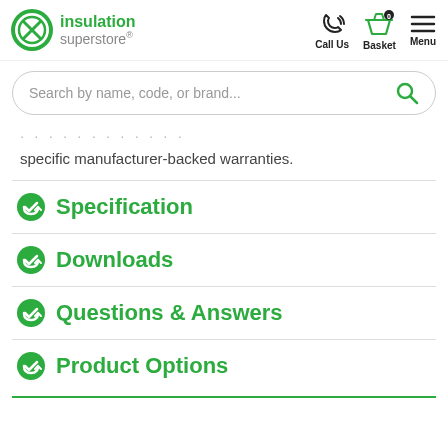insulation superstore® — Call Us | Basket 0 | Menu
[Figure (screenshot): Search bar with placeholder text: Search by name, code, or brand...]
specific manufacturer-backed warranties.
Specification
Downloads
Questions & Answers
Product Options